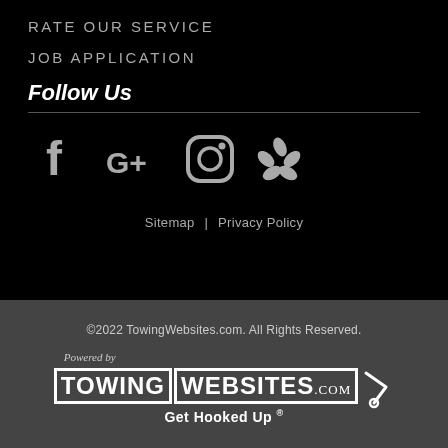RATE OUR SERVICE
JOB APPLICATION
Follow Us
[Figure (illustration): Social media icons: Facebook (f), Google+ (G+), Instagram (camera in circle), Yelp (flower/star)]
Sitemap | Privacy Policy
©2022 TowingWebsites.com. All Rights Reserved.
[Figure (logo): Powered by TowingWebsites.com - Get Hooked Up logo with tow hook graphic]